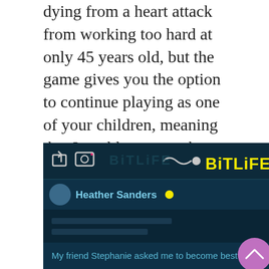dying from a heart attack from working too hard at only 45 years old, but the game gives you the option to continue playing as one of your children, meaning that I could carry on the family bloodline through several generations and different playstyles. I chose to resume the game as my daughter, who became a famous social media influencer, and not only gained her wealth from her widely successful YouTube channel but through marriage to a wealthy older gentleman with no children who eventually died and left his young bride everything.
[Figure (screenshot): Screenshot of the BitLife mobile game interface showing the BitLife logo in yellow on a dark teal background, with share and camera icons, a character named Heather Sanders, and partial text 'My friend Stephanie asked me to become best friends']